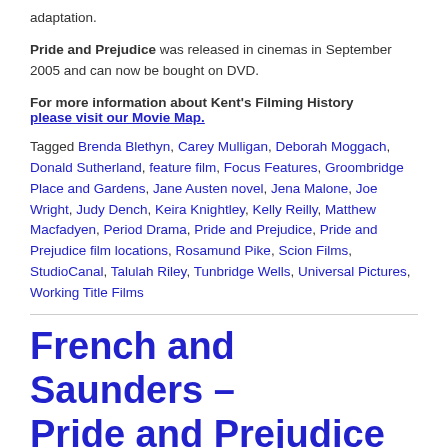adaptation.
Pride and Prejudice was released in cinemas in September 2005 and can now be bought on DVD.
For more information about Kent's Filming History please visit our Movie Map.
Tagged Brenda Blethyn, Carey Mulligan, Deborah Moggach, Donald Sutherland, feature film, Focus Features, Groombridge Place and Gardens, Jane Austen novel, Jena Malone, Joe Wright, Judy Dench, Keira Knightley, Kelly Reilly, Matthew Macfadyen, Period Drama, Pride and Prejudice, Pride and Prejudice film locations, Rosamund Pike, Scion Films, StudioCanal, Talulah Riley, Tunbridge Wells, Universal Pictures, Working Title Films
French and Saunders – Pride and Prejudice